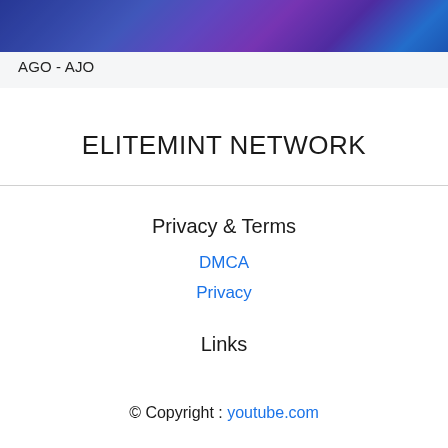[Figure (photo): Blue/purple abstract banner image at top of page]
AGO - AJO
ELITEMINT NETWORK
Privacy & Terms
DMCA
Privacy
Links
© Copyright : youtube.com